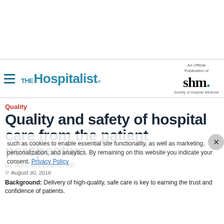[Figure (logo): The Hospitalist logo with hamburger menu icon on the left, and SHM (Society of Hospital Medicine) logo on the right with 'An Official Publication of' text above it]
Quality
Quality and safety of hospital care from the patient perspective
By Nomi Chitckarno, MD
August 30, 2018
Background: Delivery of high-quality, safe care is key to earning the trust and confidence of patients.